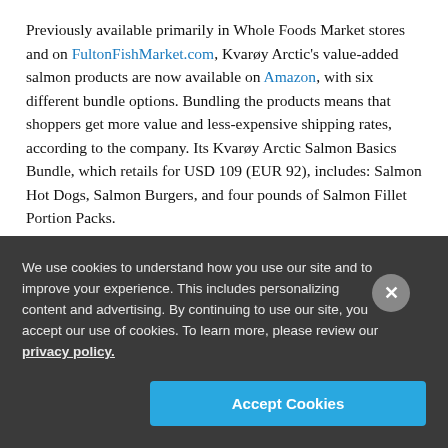Previously available primarily in Whole Foods Market stores and on FultonFishMarket.com, Kvarøy Arctic's value-added salmon products are now available on Amazon, with six different bundle options. Bundling the products means that shoppers get more value and less-expensive shipping rates, according to the company. Its Kvarøy Arctic Salmon Basics Bundle, which retails for USD 109 (EUR 92), includes: Salmon Hot Dogs, Salmon Burgers, and four pounds of Salmon Fillet Portion Packs.
“The response to these programs has exceeded our expectations. While still relatively young, the reception to our value-added products has buoyed the excitement around the brand and has allowed us to tell our story in places that were
We use cookies to understand how you use our site and to improve your experience. This includes personalizing content and advertising. By continuing to use our site, you accept our use of cookies. To learn more, please review our privacy policy.